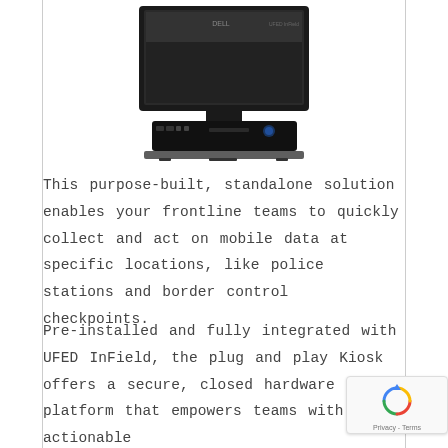[Figure (photo): A Dell all-in-one computer kiosk unit with a monitor mounted on a base/stand that contains a computer module with visible ports and a DVD drive]
This purpose-built, standalone solution enables your frontline teams to quickly collect and act on mobile data at specific locations, like police stations and border control checkpoints.
Pre-installed and fully integrated with UFED InField, the plug and play Kiosk offers a secure, closed hardware platform that empowers teams with actionable